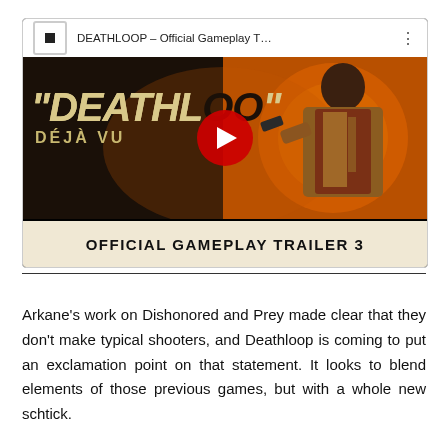[Figure (screenshot): YouTube video thumbnail for 'DEATHLOOP – Official Gameplay T…' showing a stylized game screenshot with the text '"DEATHLOOP" DÉJÀ VU' and a character in a brown jacket holding a gun on an orange background. A red YouTube play button is overlaid in the center. Below the thumbnail is a cream-colored bar reading 'OFFICIAL GAMEPLAY TRAILER 3'.]
Arkane's work on Dishonored and Prey made clear that they don't make typical shooters, and Deathloop is coming to put an exclamation point on that statement. It looks to blend elements of those previous games, but with a whole new schtick.